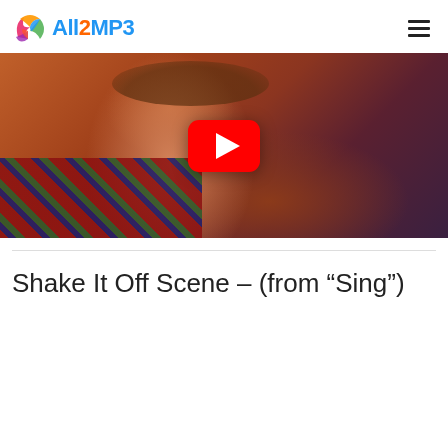All2MP3
[Figure (screenshot): YouTube video thumbnail showing a woman in a plaid shirt with a YouTube play button overlay]
Shake It Off Scene – (from “Sing”)